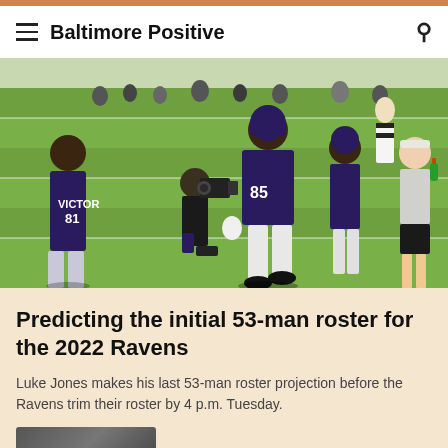Baltimore Positive
[Figure (photo): Baltimore Ravens players in purple jerseys including #81 Victor and #85 at training camp on a green field, with a cameraman kneeling and a woman holding a drink bottle on the right]
Predicting the initial 53-man roster for the 2022 Ravens
Luke Jones makes his last 53-man roster projection before the Ravens trim their roster by 4 p.m. Tuesday.